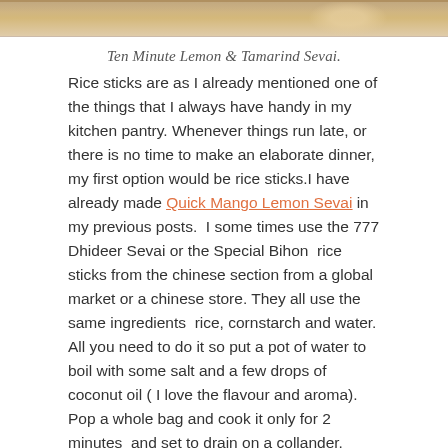[Figure (photo): Top portion of a food photo showing Ten Minute Lemon & Tamarind Sevai dish]
Ten Minute Lemon & Tamarind Sevai.
Rice sticks are as I already mentioned one of the things that I always have handy in my kitchen pantry. Whenever things run late, or there is no time to make an elaborate dinner, my first option would be rice sticks.I have already made Quick Mango Lemon Sevai in my previous posts.  I some times use the 777 Dhideer Sevai or the Special Bihon  rice sticks from the chinese section from a global market or a chinese store. They all use the same ingredients  rice, cornstarch and water. All you need to do it so put a pot of water to boil with some salt and a few drops of coconut oil ( I love the flavour and aroma). Pop a whole bag and cook it only for 2 minutes  and set to drain on a collander. Since the rice sticks are extremely thin, make sure not to overcook them. The oil in the water, prevents them from sticking to each other.